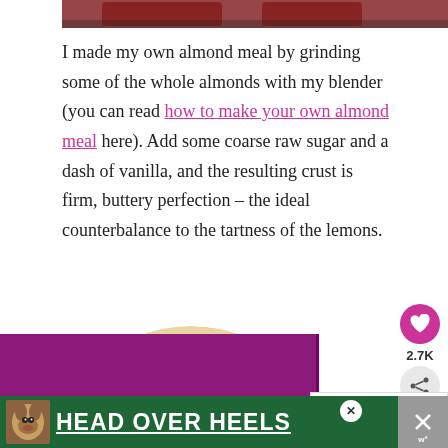[Figure (photo): Top portion of a food photo showing dark red/chocolate colored baked goods against a light background, partially visible at top of page]
I made my own almond meal by grinding some of the whole almonds with my blender (you can read how to make your own almond meal here). Add some coarse raw sugar and a dash of vanilla, and the resulting crust is firm, buttery perfection – the ideal counterbalance to the tartness of the lemons.
[Figure (photo): Circular food photograph showing lemon tarts topped with whipped cream and a lemon slice, with a golden almond crust, displayed on a light background]
[Figure (screenshot): What's Next sidebar widget showing 'Happiness is Homemade...' article preview with a blue thumbnail image and right arrow indicator]
[Figure (photo): Bottom advertisement banner with green background showing a dog photo and text HEAD OVER HEELS in white bold underlined letters, with close button X]
[Figure (infographic): Purple banner/overlay bar partially visible behind the food circle image]